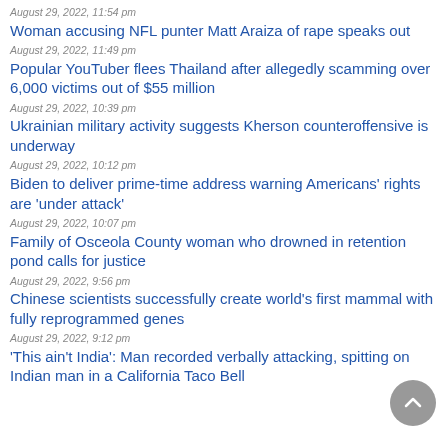August 29, 2022, 11:54 pm
Woman accusing NFL punter Matt Araiza of rape speaks out
August 29, 2022, 11:49 pm
Popular YouTuber flees Thailand after allegedly scamming over 6,000 victims out of $55 million
August 29, 2022, 10:39 pm
Ukrainian military activity suggests Kherson counteroffensive is underway
August 29, 2022, 10:12 pm
Biden to deliver prime-time address warning Americans' rights are 'under attack'
August 29, 2022, 10:07 pm
Family of Osceola County woman who drowned in retention pond calls for justice
August 29, 2022, 9:56 pm
Chinese scientists successfully create world's first mammal with fully reprogrammed genes
August 29, 2022, 9:12 pm
'This ain't India': Man recorded verbally attacking, spitting on Indian man in a California Taco Bell